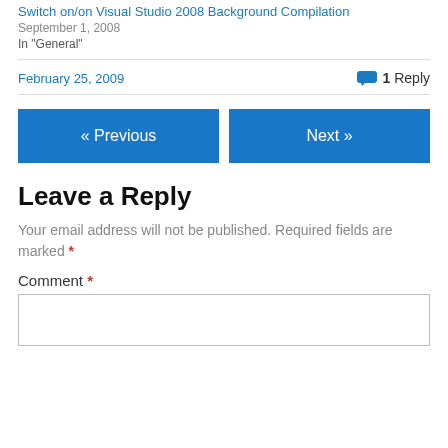Switch on/on Visual Studio 2008 Background Compilation
September 1, 2008
In "General"
February 25, 2009  1 Reply
« Previous
Next »
Leave a Reply
Your email address will not be published. Required fields are marked *
Comment *